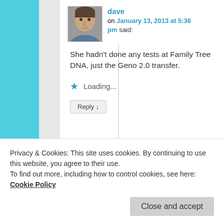dave on January 13, 2013 at 5:36 pm said:
She hadn't done any tests at Family Tree DNA, just the Geno 2.0 transfer.
Loading...
Reply ↓
Janey
Privacy & Cookies: This site uses cookies. By continuing to use this website, you agree to their use.
To find out more, including how to control cookies, see here: Cookie Policy
Close and accept
from Geno 2.0 to FTDNA. Actually,